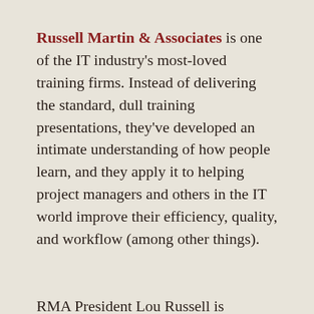Russell Martin & Associates is one of the IT industry's most-loved training firms. Instead of delivering the standard, dull training presentations, they've developed an intimate understanding of how people learn, and they apply it to helping project managers and others in the IT world improve their efficiency, quality, and workflow (among other things).
RMA President Lou Russell is